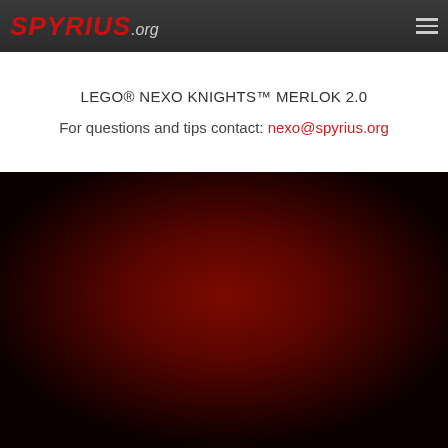SPYRIUS.org
LEGO® NEXO KNIGHTS™ MERLOK 2.0
For questions and tips contact: nexo@spyrius.org
[Figure (photo): Dark red radial gradient background image, deep dark red center fading to near-black edges]